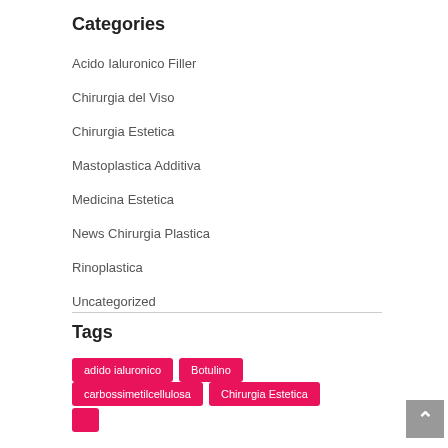Categories
Acido Ialuronico Filler
Chirurgia del Viso
Chirurgia Estetica
Mastoplastica Additiva
Medicina Estetica
News Chirurgia Plastica
Rinoplastica
Uncategorized
Tags
adido ialuronico
Botulino
carbossimetilcellulosa
Chirurgia Estetica